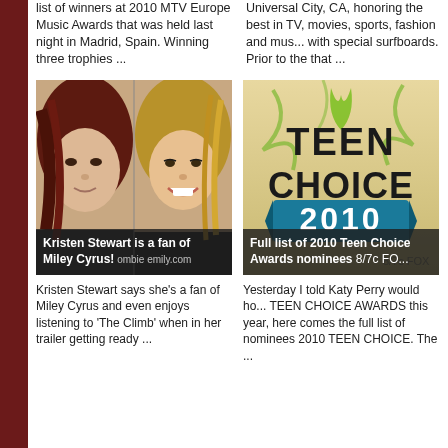list of winners at 2010 MTV Europe Music Awards that was held last night in Madrid, Spain. Winning three trophies ...
Universal City, CA, honoring the best in TV, movies, sports, fashion and music with special surfboards. Prior to the that ...
[Figure (photo): Side-by-side photo of Kristen Stewart and Miley Cyrus with overlay caption 'Kristen Stewart is a fan of Miley Cyrus!']
Kristen Stewart is a fan of Miley Cyrus!
[Figure (photo): Teen Choice Awards 2010 logo graphic with flame design and '2010' badge, overlay text 'Full list of 2010 Teen Choice Awards nominees']
Full list of 2010 Teen Choice Awards nominees
Kristen Stewart says she's a fan of Miley Cyrus and even enjoys listening to 'The Climb' when in her trailer getting ready ...
Yesterday I told Katy Perry would host TEEN CHOICE AWARDS this year, here comes the full list of nominees 2010 TEEN CHOICE. The ...